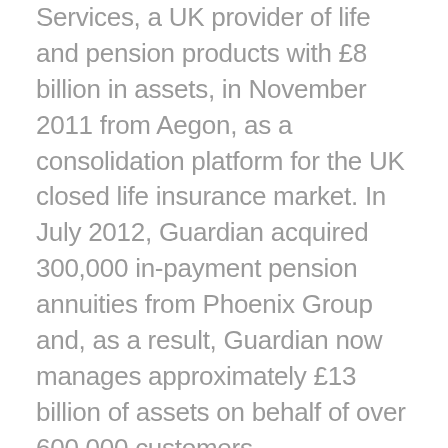Services, a UK provider of life and pension products with £8 billion in assets, in November 2011 from Aegon, as a consolidation platform for the UK closed life insurance market. In July 2012, Guardian acquired 300,000 in-payment pension annuities from Phoenix Group and, as a result, Guardian now manages approximately £13 billion of assets on behalf of over 600,000 customers.
Caspar Berendsen, a Partner at Cinven, commented:
"With Guardian Financial Services, our